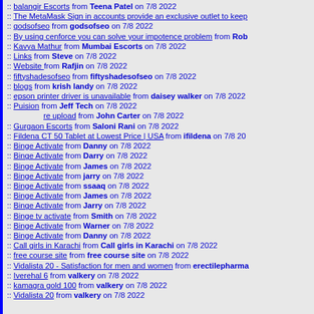:: balangir Escorts from Teena Patel on 7/8 2022
:: The MetaMask Sign in accounts provide an exclusive outlet to keep
:: godsofseo from godsofseo on 7/8 2022
:: By using cenforce you can solve your impotence problem from Rob
:: Kavya Mathur from Mumbai Escorts on 7/8 2022
:: Links from Steve on 7/8 2022
:: Website from Rafjin on 7/8 2022
:: fiftyshadesofseo from fiftyshadesofseo on 7/8 2022
:: blogs from krish landy on 7/8 2022
:: epson printer driver is unavailable from daisey walker on 7/8 2022
:: Puision from Jeff Tech on 7/8 2022
re upload from John Carter on 7/8 2022
:: Gurgaon Escorts from Saloni Rani on 7/8 2022
:: Fildena CT 50 Tablet at Lowest Price | USA from ifildena on 7/8 20
:: Binge Activate from Danny on 7/8 2022
:: Binge Activate from Darry on 7/8 2022
:: Binge Activate from James on 7/8 2022
:: Binge Activate from jarry on 7/8 2022
:: Binge Activate from ssaaq on 7/8 2022
:: Binge Activate from James on 7/8 2022
:: Binge Activate from Jarry on 7/8 2022
:: Binge tv activate from Smith on 7/8 2022
:: Binge Activate from Warner on 7/8 2022
:: Binge Activate from Danny on 7/8 2022
:: Call girls in Karachi from Call girls in Karachi on 7/8 2022
:: free course site from free course site on 7/8 2022
:: Vidalista 20 - Satisfaction for men and women from erectilepharma
:: Iverehal 6 from valkery on 7/8 2022
:: kamagra gold 100 from valkery on 7/8 2022
:: Vidalista 20 from valkery on 7/8 2022